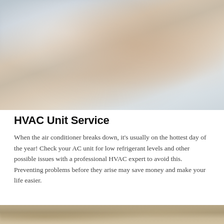[Figure (photo): Blurred/out-of-focus photo of an HVAC unit or air conditioning equipment, with warm tan and cool gray tones]
HVAC Unit Service
When the air conditioner breaks down, it's usually on the hottest day of the year! Check your AC unit for low refrigerant levels and other possible issues with a professional HVAC expert to avoid this. Preventing problems before they arise may save money and make your life easier.
[Figure (photo): Partial view of another photo at the bottom of the page, showing earthy/sandy tones]